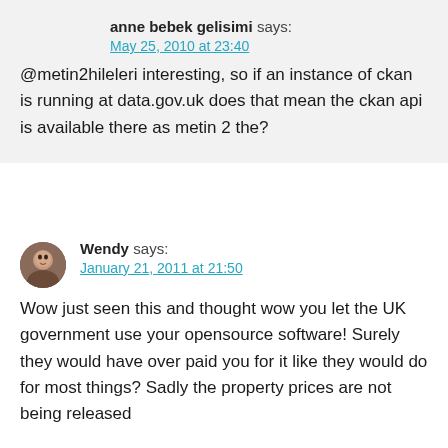anne bebek gelisimi says:
May 25, 2010 at 23:40
@metin2hileleri interesting, so if an instance of ckan is running at data.gov.uk does that mean the ckan api is available there as metin 2 the?
Wendy says:
January 21, 2011 at 21:50
Wow just seen this and thought wow you let the UK government use your opensource software! Surely they would have over paid you for it like they would do for most things? Sadly the property prices are not being released